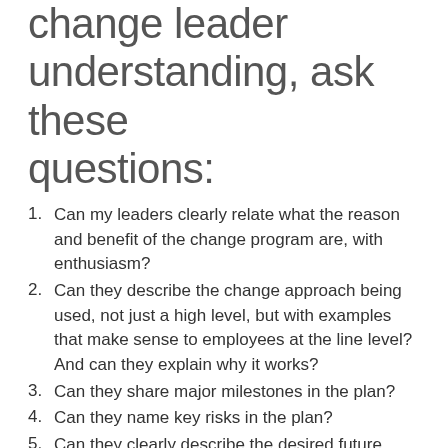change leader understanding, ask these questions:
Can my leaders clearly relate what the reason and benefit of the change program are, with enthusiasm?
Can they describe the change approach being used, not just a high level, but with examples that make sense to employees at the line level? And can they explain why it works?
Can they share major milestones in the plan?
Can they name key risks in the plan?
Can they clearly describe the desired future state, again at a level that line folks will relate to?